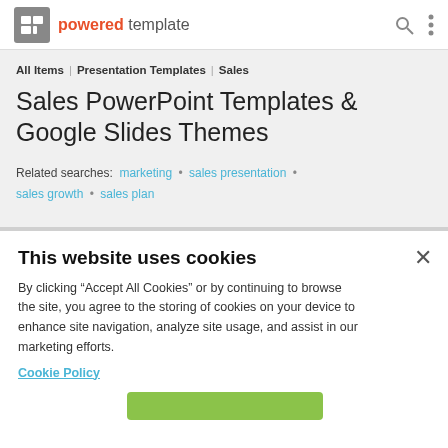powered template
All Items | Presentation Templates | Sales
Sales PowerPoint Templates & Google Slides Themes
Related searches: marketing • sales presentation • sales growth • sales plan
This website uses cookies
By clicking “Accept All Cookies” or by continuing to browse the site, you agree to the storing of cookies on your device to enhance site navigation, analyze site usage, and assist in our marketing efforts.
Cookie Policy